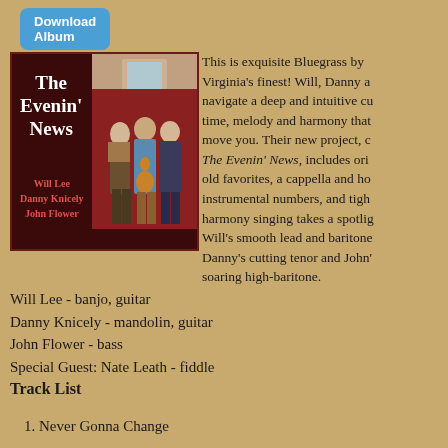[Figure (other): Download Album button - blue rounded rectangle button]
[Figure (photo): Album cover for 'The Evenin' News' by Will Lee, Danny Knicely, John Flower. Dark red background with album title and artist names on left, photo of three musicians on right.]
This is exquisite Bluegrass by Virginia's finest! Will, Danny and navigate a deep and intuitive cu time, melody and harmony that move you. Their new project, c The Evenin' News, includes ori old favorites, a cappella and ho instrumental numbers, and tigh harmony singing takes a spotlig Will's smooth lead and baritone Danny's cutting tenor and John' soaring high-baritone.
Will Lee - banjo, guitar
Danny Knicely - mandolin, guitar
John Flower - bass
Special Guest: Nate Leath - fiddle
Track List
1. Never Gonna Change